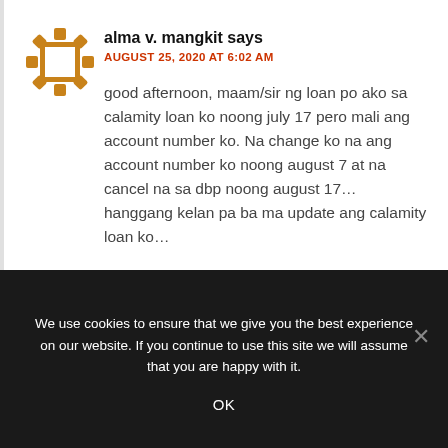[Figure (illustration): Avatar icon: orange/gold gear/cog ring surrounding a white square, used as a default user avatar]
alma v. mangkit says
AUGUST 25, 2020 AT 6:02 AM
good afternoon, maam/sir ng loan po ako sa calamity loan ko noong july 17 pero mali ang account number ko. Na change ko na ang account number ko noong august 7 at na cancel na sa dbp noong august 17… hanggang kelan pa ba ma update ang calamity loan ko…
We use cookies to ensure that we give you the best experience on our website. If you continue to use this site we will assume that you are happy with it.
OK